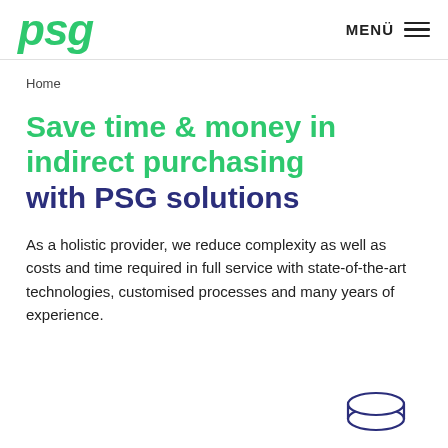psg   MENÜ
Home
Save time & money in indirect purchasing with PSG solutions
As a holistic provider, we reduce complexity as well as costs and time required in full service with state-of-the-art technologies, customised processes and many years of experience.
[Figure (illustration): A coin / disc shape illustration (circle with oval top, outline style in dark navy/purple)]